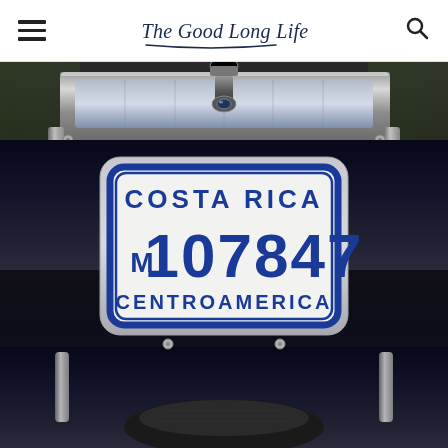The Good Long Life
[Figure (photo): Close-up photograph of the rear of a motorcycle showing a Costa Rica license plate reading 'COSTA RICA M 107847 CENTROAMERICA' in blue lettering on a white plate with blue border, mounted on a chrome rack above the rear wheel. The motorcycle appears dark blue/black with chrome accents.]